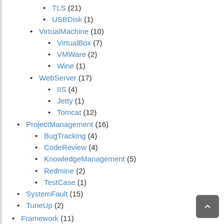TLS (21)
USBDisk (1)
VirtualMachine (10)
VirtualBox (7)
VMWare (2)
Wine (1)
WebServer (17)
IIS (4)
Jetty (1)
Tomcat (12)
ProjectManagement (16)
BugTracking (4)
CodeReview (4)
KnowledgeManagement (5)
Redmine (2)
TestCase (1)
SystemFault (15)
TuneUp (2)
Framework (11)
QT (7)
SpringFramework (3)